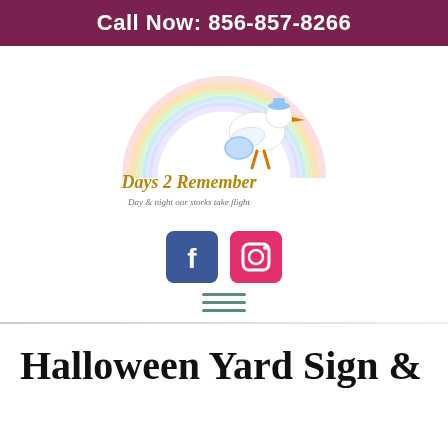Call Now: 856-857-8266
[Figure (logo): Days 2 Remember logo with stork carrying a baby bundle over a rainbow, tagline: Day & night our storks take flight]
[Figure (other): Social media icons: Facebook (blue square) and Instagram (pink square)]
[Figure (other): Hamburger menu icon with three teal horizontal lines]
Halloween Yard Sign &